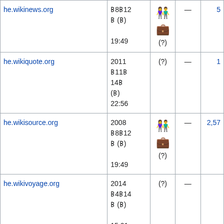| Domain | Date | Icon | — | Number |
| --- | --- | --- | --- | --- |
| he.wikinews.org | 𐌁8𐌁12𐌁 (𐌁) 19:49 | 🧑‍🤝‍🧑 (?) | — | 5 |
| he.wikiquote.org | 2011 𐌁11𐌁 14𐌁 (𐌁) 22:56 | (?) | — | 1 |
| he.wikisource.org | 2008 𐌁8𐌁12𐌁 (𐌁) 19:49 | 🧑‍🤝‍🧑 (?) | — | 2,57 |
| he.wikivoyage.org | 2014 𐌁4𐌁14𐌁 (𐌁) 15:01 | (?) | — |  |